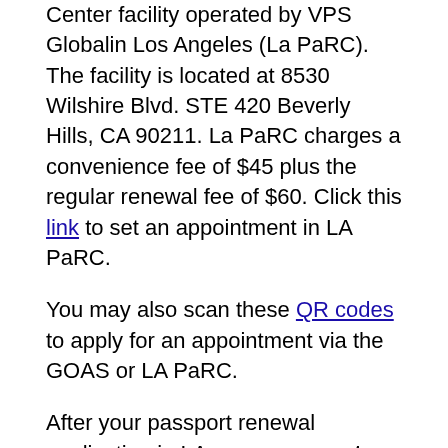Center facility operated by VPS Globalin Los Angeles (La PaRC). The facility is located at 8530 Wilshire Blvd. STE 420 Beverly Hills, CA 90211. La PaRC charges a convenience fee of $45 plus the regular renewal fee of $60. Click this link to set an appointment in LA PaRC.
You may also scan these QR codes to apply for an appointment via the GOAS or LA PaRC.
After your passport renewal application in LA, your passport will be available within six to eight weeks.
Personal passport pickup at the Consulate is no longer an option. Passport release is done through